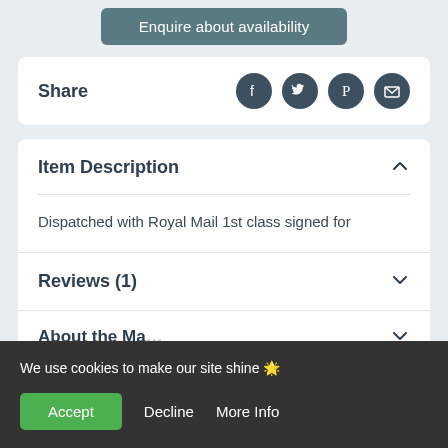Enquire about availability
Share
Item Description
Dispatched with Royal Mail 1st class signed for
Reviews (1)
About the Ma…
We use cookies to make our site shine 🌟
Accept   Decline   More Info